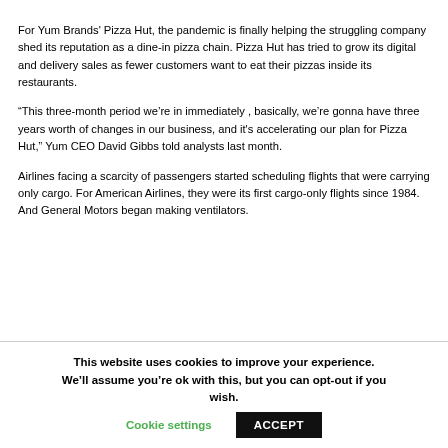For Yum Brands' Pizza Hut, the pandemic is finally helping the struggling company shed its reputation as a dine-in pizza chain. Pizza Hut has tried to grow its digital and delivery sales as fewer customers want to eat their pizzas inside its restaurants.
“This three-month period we’re in immediately , basically, we’re gonna have three years worth of changes in our business, and it's accelerating our plan for Pizza Hut,” Yum CEO David Gibbs told analysts last month.
Airlines facing a scarcity of passengers started scheduling flights that were carrying only cargo. For American Airlines, they were its first cargo-only flights since 1984. And General Motors began making ventilators.
This website uses cookies to improve your experience. We’ll assume you’re ok with this, but you can opt-out if you wish. Cookie settings ACCEPT